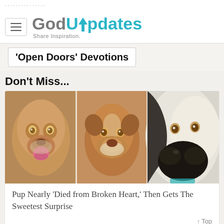GodUpdates — Share Inspiration.
'Open Doors' Devotions
Don't Miss...
[Figure (photo): Three dogs close-up faces: left dog is tan/brown licking tongue out, middle dog is brown/white looking at camera, right dog is white/black with big nose close to camera]
Pup Nearly 'Died from Broken Heart,' Then Gets The Sweetest Surprise
↑ Top